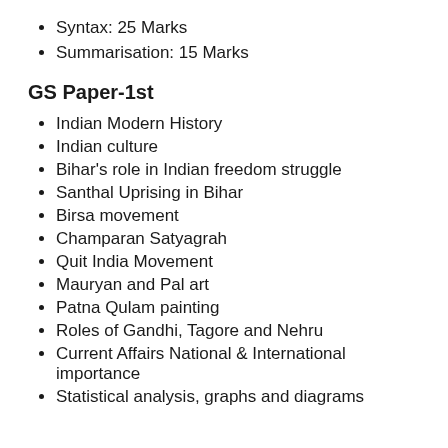Syntax: 25 Marks
Summarisation: 15 Marks
GS Paper-1st
Indian Modern History
Indian culture
Bihar's role in Indian freedom struggle
Santhal Uprising in Bihar
Birsa movement
Champaran Satyagrah
Quit India Movement
Mauryan and Pal art
Patna Qulam painting
Roles of Gandhi, Tagore and Nehru
Current Affairs National & International importance
Statistical analysis, graphs and diagrams